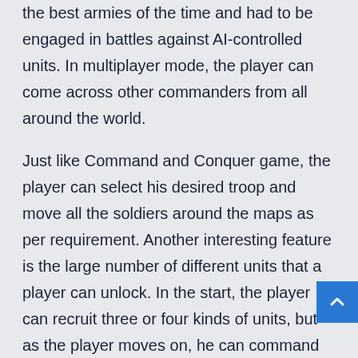the best armies of the time and had to be engaged in battles against AI-controlled units. In multiplayer mode, the player can come across other commanders from all around the world.
Just like Command and Conquer game, the player can select his desired troop and move all the soldiers around the maps as per requirement. Another interesting feature is the large number of different units that a player can unlock. In the start, the player can recruit three or four kinds of units, but as the player moves on, he can command up to 20 units. Helicopters, tanks, infantry, and other vehicles are there to operate but deploying the perfect strategy is all above.